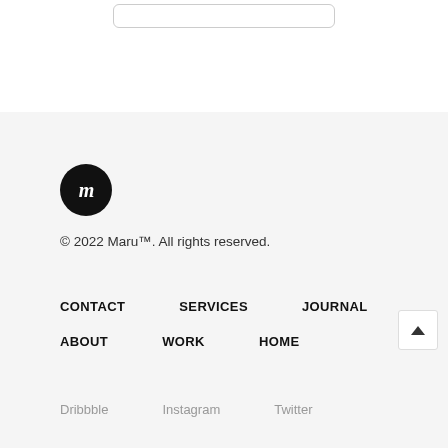[Figure (other): Input box / form field outline at top of page]
[Figure (logo): Maru brand logo: black circle with white cursive m]
© 2022 Maru™. All rights reserved.
CONTACT   SERVICES   JOURNAL
ABOUT   WORK   HOME
Dribbble   Instagram   Twitter